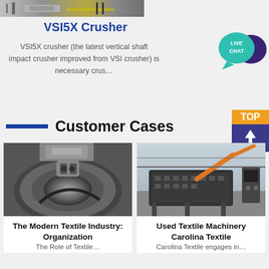[Figure (photo): Close-up photo of industrial crusher machinery, top portion visible]
VSI5X Crusher
VSI5X crusher (the latest vertical shaft impact crusher improved from VSI crusher) is necessary crus…
[Figure (other): Live Chat bubble icon in teal and dark purple]
Customer Cases
[Figure (photo): Close-up photo of industrial crusher disc/rotor mechanism]
The Modern Textile Industry: Organization
The Role of Textile…
[Figure (photo): Photo of large industrial vibrating screen equipment in a factory]
Used Textile Machinery Carolina Textile
Carolina Textile engages in…